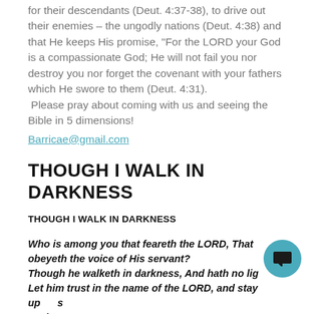for their descendants (Deut. 4:37-38), to drive out their enemies – the ungodly nations (Deut. 4:38) and that He keeps His promise, "For the LORD your God is a compassionate God; He will not fail you nor destroy you nor forget the covenant with your fathers which He swore to them (Deut. 4:31).
 Please pray about coming with us and seeing the Bible in 5 dimensions!
Barricae@gmail.com
THOUGH I WALK IN DARKNESS
THOUGH I WALK IN DARKNESS
Who is among you that feareth the LORD, That obeyeth the voice of His servant?
Though he walketh in darkness, And hath no lig...
Let him trust in the name of the LORD, and stay up... God.